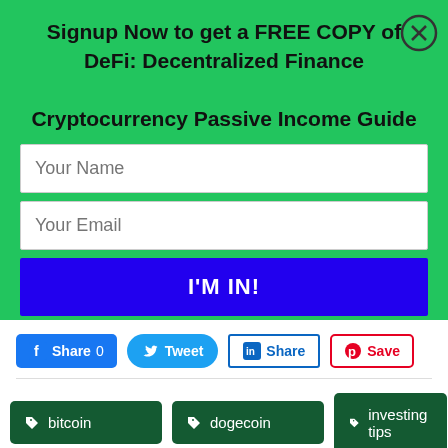Signup Now to get a FREE COPY of DeFi: Decentralized Finance Cryptocurrency Passive Income Guide
[Figure (screenshot): Web signup form with name and email input fields and an I'M IN! submit button on a green background, with a close (X) button in the top right corner]
[Figure (infographic): Social share buttons: Facebook Share 0, Tweet, LinkedIn Share, Pinterest Save]
bitcoin
dogecoin
investing tips
investment
market cap